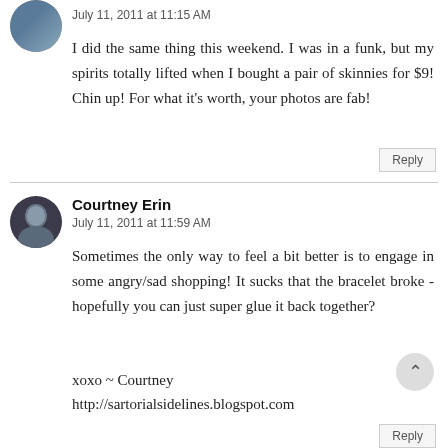[Figure (photo): Circular avatar image of a person, top-left corner]
July 11, 2011 at 11:15 AM
I did the same thing this weekend. I was in a funk, but my spirits totally lifted when I bought a pair of skinnies for $9! Chin up! For what it's worth, your photos are fab!
Reply
[Figure (photo): Circular avatar image of Courtney Erin]
Courtney Erin
July 11, 2011 at 11:59 AM
Sometimes the only way to feel a bit better is to engage in some angry/sad shopping! It sucks that the bracelet broke - hopefully you can just super glue it back together?
xoxo ~ Courtney
http://sartorialsidelines.blogspot.com
Reply